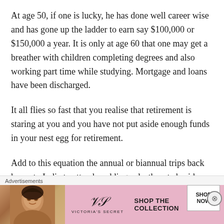At age 50, if one is lucky, he has done well career wise and has gone up the ladder to earn say $100,000 or $150,000 a year. It is only at age 60 that one may get a breather with children completing degrees and also working part time while studying. Mortgage and loans have been discharged.
It all flies so fast that you realise that retirement is staring at you and you have not put aside enough funds in your nest egg for retirement.
Add to this equation the annual or biannual trips back home to India to attend weddings, deaths, etc besides holidays. Let us not forget that 95% of NRIs are
[Figure (infographic): Victoria's Secret advertisement banner with a model photo on the left, VS logo in the center, 'SHOP THE COLLECTION' text, and a 'SHOP NOW' button on a pink background.]